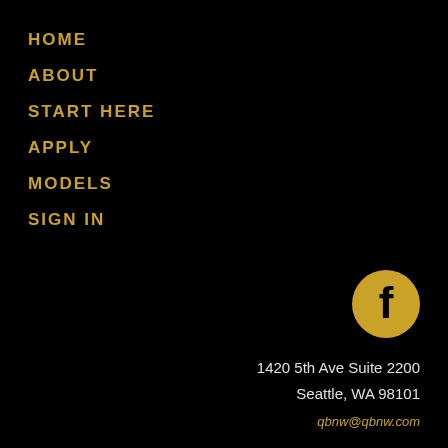HOME
ABOUT
START HERE
APPLY
MODELS
SIGN IN
[Figure (logo): Facebook icon — golden circle with white 'f' letter]
1420 5th Ave Suite 2200
Seattle, WA 98101
qbnw@qbnw.com